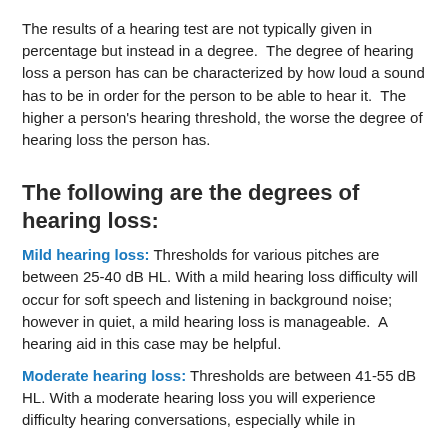The results of a hearing test are not typically given in percentage but instead in a degree. The degree of hearing loss a person has can be characterized by how loud a sound has to be in order for the person to be able to hear it. The higher a person's hearing threshold, the worse the degree of hearing loss the person has.
The following are the degrees of hearing loss:
Mild hearing loss: Thresholds for various pitches are between 25-40 dB HL. With a mild hearing loss difficulty will occur for soft speech and listening in background noise; however in quiet, a mild hearing loss is manageable. A hearing aid in this case may be helpful.
Moderate hearing loss: Thresholds are between 41-55 dB HL. With a moderate hearing loss you will experience difficulty hearing conversations, especially while in